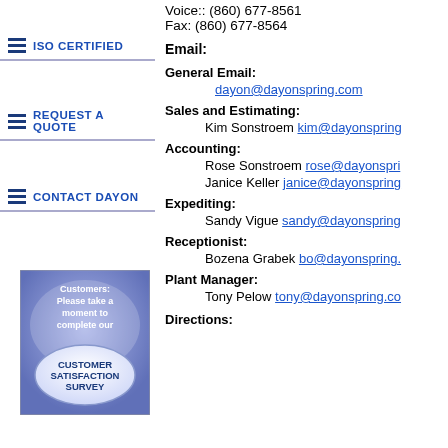[Figure (logo): ISO Certified navigation button with three horizontal lines icon and text ISO CERTIFIED in blue]
[Figure (logo): Request A Quote navigation button with three horizontal lines icon and text REQUEST A QUOTE in blue]
[Figure (logo): Contact Dayon navigation button with three horizontal lines icon and text CONTACT DAYON in blue]
[Figure (illustration): Customer Satisfaction Survey banner image with purple/blue gradient background and oval button]
Voice:: (860) 677-8561
Fax: (860) 677-8564
Email:
General Email:
dayon@dayonspring.com
Sales and Estimating:
Kim Sonstroem kim@dayonspring
Accounting:
Rose Sonstroem rose@dayonspri
Janice Keller janice@dayonspring
Expediting:
Sandy Vigue sandy@dayonspring
Receptionist:
Bozena Grabek bo@dayonspring.
Plant Manager:
Tony Pelow tony@dayonspring.co
Directions: